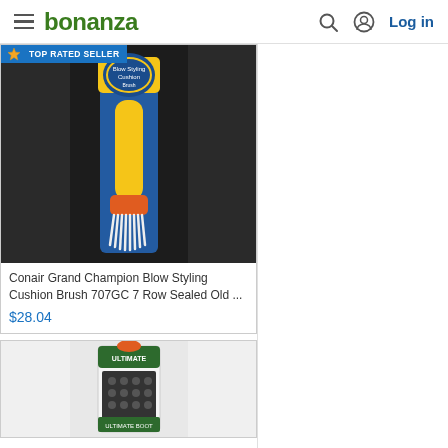bonanza
[Figure (photo): Product photo of Conair Grand Champion Blow Styling Cushion Brush 707GC, a comb/brush with yellow handle and orange base with white bristles, in blue packaging, on dark background. Badge reads TOP RATED SELLER.]
Conair Grand Champion Blow Styling Cushion Brush 707GC 7 Row Sealed Old ...
$28.04
[Figure (photo): Product photo of a second item, partially visible, appears to be a screwdriver bit set or similar tool in green/black packaging.]